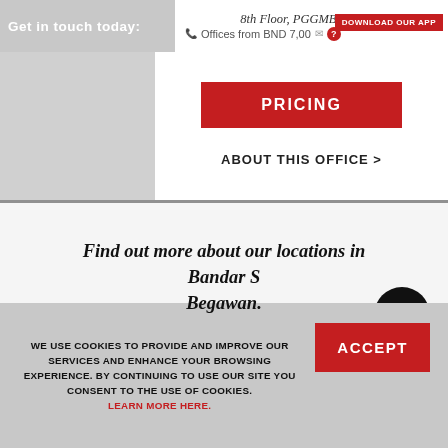Get in touch today:
8th Floor, PGGMB Building
Offices from BND 7,00
DOWNLOAD OUR APP
PRICING
ABOUT THIS OFFICE >
Find out more about our locations in Bandar Seri Begawan.
WE USE COOKIES TO PROVIDE AND IMPROVE OUR SERVICES AND ENHANCE YOUR BROWSING EXPERIENCE. BY CONTINUING TO USE OUR SITE YOU CONSENT TO THE USE OF COOKIES. LEARN MORE HERE.
ACCEPT